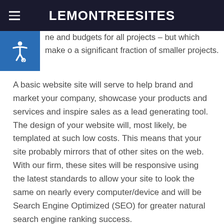LEMONTREESITES
ne and budgets for all projects – but which make o a significant fraction of smaller projects.
A basic website site will serve to help brand and market your company, showcase your products and services and inspire sales as a lead generating tool. The design of your website will, most likely, be templated at such low costs. This means that your site probably mirrors that of other sites on the web. With our firm, these sites will be responsive using the latest standards to allow your site to look the same on nearly every computer/device and will be Search Engine Optimized (SEO) for greater natural search engine ranking success.
But not all firms code the same and have search